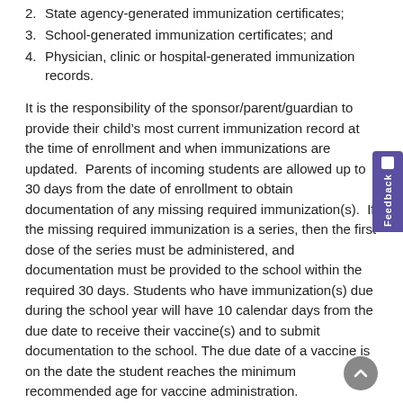2. State agency-generated immunization certificates;
3. School-generated immunization certificates; and
4. Physician, clinic or hospital-generated immunization records.
It is the responsibility of the sponsor/parent/guardian to provide their child’s most current immunization record at the time of enrollment and when immunizations are updated.  Parents of incoming students are allowed up to 30 days from the date of enrollment to obtain documentation of any missing required immunization(s).  If the missing required immunization is a series, then the first dose of the series must be administered, and documentation must be provided to the school within the required 30 days. Students who have immunization(s) due during the school year will have 10 calendar days from the due date to receive their vaccine(s) and to submit documentation to the school. The due date of a vaccine is on the date the student reaches the minimum recommended age for vaccine administration.
STUDENTS IN NON-COMPLIANCE AFTER 10 DAYS MAY BE DISENROLLED UNTIL PROOF OF COMPLIANCE OR